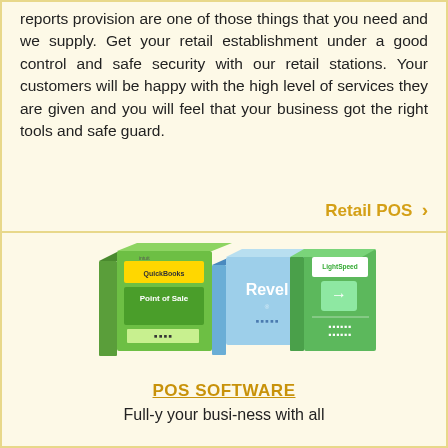reports provision are one of those things that you need and we supply. Get your retail establishment under a good control and safe security with our retail stations. Your customers will be happy with the high level of services they are given and you will feel that your business got the right tools and safe guard.
Retail POS ›
[Figure (photo): Three software product boxes: QuickBooks Point of Sale (green), Revel (blue), and LightSpeed (green), displayed side by side.]
POS SOFTWARE
Full-y your busi-ness with all